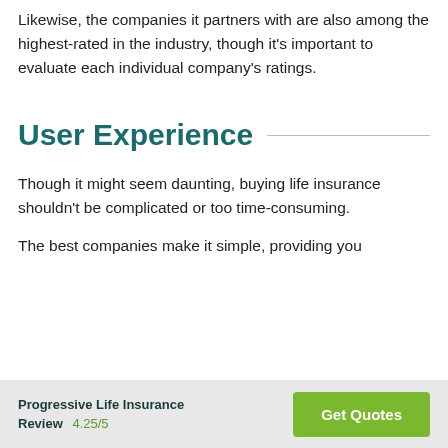Likewise, the companies it partners with are also among the highest-rated in the industry, though it's important to evaluate each individual company's ratings.
User Experience
Though it might seem daunting, buying life insurance shouldn't be complicated or too time-consuming.
The best companies make it simple, providing you
Progressive Life Insurance Review  4.25/5  Get Quotes